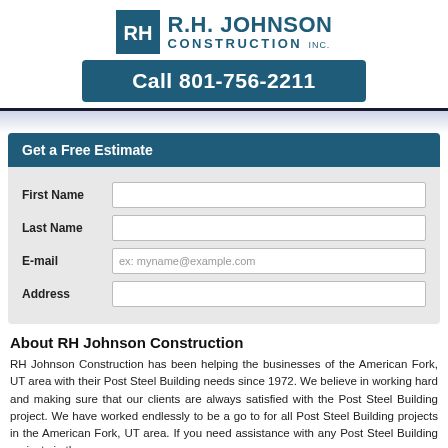[Figure (logo): R.H. Johnson Construction Inc. logo with stylized RHJ icon in blue and company name]
Call 801-756-2211
Get a Free Estimate
First Name
Last Name
E-mail
Address
About RH Johnson Construction
RH Johnson Construction has been helping the businesses of the American Fork, UT area with their Post Steel Building needs since 1972. We believe in working hard and making sure that our clients are always satisfied with the Post Steel Building project. We have worked endlessly to be a go to for all Post Steel Building projects in the American Fork, UT area. If you need assistance with any Post Steel Building projects in the